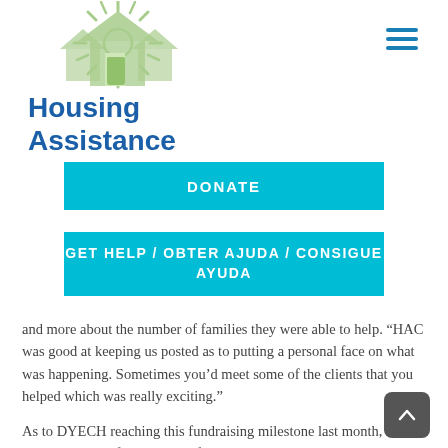[Figure (logo): Housing Assistance logo with sun and house graphic in green, with text 'Housing Assistance' in bold blue]
[Figure (other): Hamburger menu icon (three horizontal lines) in teal/blue]
DONATE
GET HELP / OBTER AJUDA / CONSIGUE AYUDA
and more about the number of families they were able to help. “HAC was good at keeping us posted as to putting a personal face on what was happening. Sometimes you'd meet some of the clients that you helped which was really exciting.”
As to DYECH reaching this fundraising milestone last month, she said, “I’m sure if you met the faces that